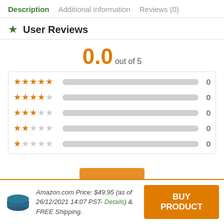Description | Additional information | Reviews (0)
User Reviews
0.0 out of 5
[Figure (bar-chart): Rating breakdown]
Amazon.com Price: $49.95 (as of 26/12/2021 14:07 PST- Details) & FREE Shipping.
BUY PRODUCT